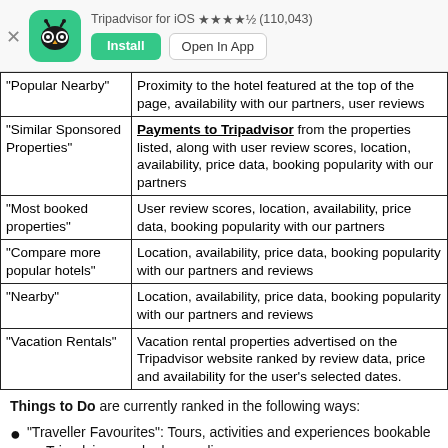[Figure (screenshot): Tripadvisor iOS app install banner with owl logo, star rating (110,043), Install and Open In App buttons]
| Category | Ranking Factors |
| --- | --- |
| "Popular Nearby" | Proximity to the hotel featured at the top of the page, availability with our partners, user reviews |
| "Similar Sponsored Properties" | Payments to Tripadvisor from the properties listed, along with user review scores, location, availability, price data, booking popularity with our partners |
| "Most booked properties" | User review scores, location, availability, price data, booking popularity with our partners |
| "Compare more popular hotels" | Location, availability, price data, booking popularity with our partners and reviews |
| "Nearby" | Location, availability, price data, booking popularity with our partners and reviews |
| "Vacation Rentals" | Vacation rental properties advertised on the Tripadvisor website ranked by review data, price and availability for the user's selected dates. |
Things to Do are currently ranked in the following ways:
"Traveller Favourites": Tours, activities and experiences bookable on Tripadvisor, ranked according